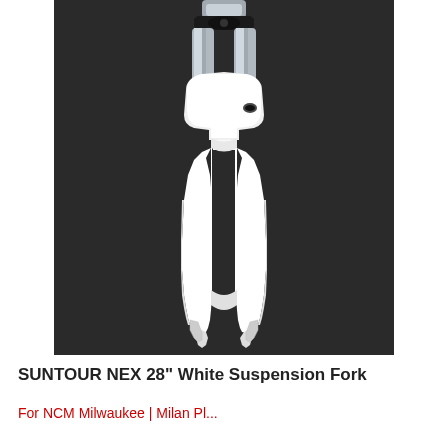[Figure (photo): A white SUNTOUR NEX 28-inch suspension fork photographed from the front against a dark gray/black background. The fork shows chrome upper legs and white lower legs with the two fork blades spreading downward.]
SUNTOUR NEX 28" White Suspension Fork
For NCM Milwaukee | Milan Pl...